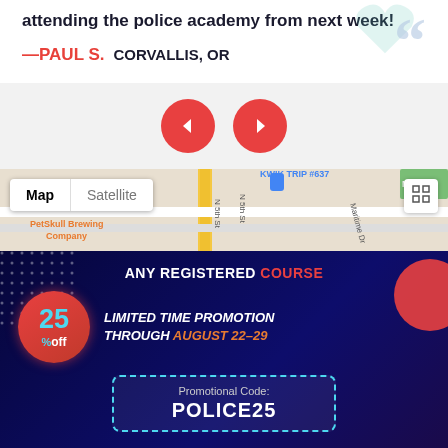attending the police academy from next week!
— PAUL S. CORVALLIS, OR
[Figure (screenshot): Navigation arrows (left and right) as red circular buttons for carousel/slider navigation]
[Figure (map): Google Maps screenshot showing KWIK TRIP #637, PetSkull Brewing Company, with Map/Satellite toggle controls and expand button]
ANY REGISTERED COURSE
25% off LIMITED TIME PROMOTION THROUGH AUGUST 22-29
Promotional Code: POLICE25